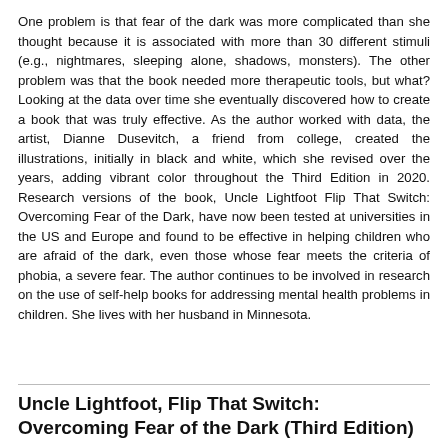One problem is that fear of the dark was more complicated than she thought because it is associated with more than 30 different stimuli (e.g., nightmares, sleeping alone, shadows, monsters). The other problem was that the book needed more therapeutic tools, but what? Looking at the data over time she eventually discovered how to create a book that was truly effective. As the author worked with data, the artist, Dianne Dusevitch, a friend from college, created the illustrations, initially in black and white, which she revised over the years, adding vibrant color throughout the Third Edition in 2020. Research versions of the book, Uncle Lightfoot Flip That Switch: Overcoming Fear of the Dark, have now been tested at universities in the US and Europe and found to be effective in helping children who are afraid of the dark, even those whose fear meets the criteria of phobia, a severe fear. The author continues to be involved in research on the use of self-help books for addressing mental health problems in children. She lives with her husband in Minnesota.
Uncle Lightfoot, Flip That Switch: Overcoming Fear of the Dark (Third Edition)